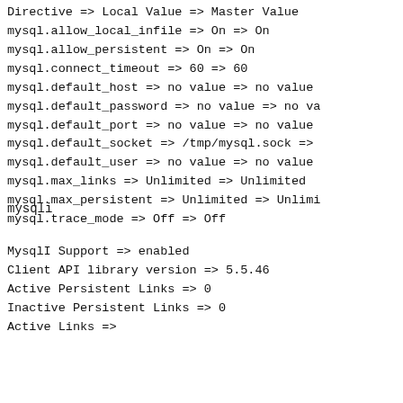Directive => Local Value => Master Value
mysql.allow_local_infile => On => On
mysql.allow_persistent => On => On
mysql.connect_timeout => 60 => 60
mysql.default_host => no value => no value
mysql.default_password => no value => no va
mysql.default_port => no value => no value
mysql.default_socket => /tmp/mysql.sock =>
mysql.default_user => no value => no value
mysql.max_links => Unlimited => Unlimited
mysql.max_persistent => Unlimited => Unlimi
mysql.trace_mode => Off => Off
mysqli
MysqlI Support => enabled
Client API library version => 5.5.46
Active Persistent Links => 0
Inactive Persistent Links => 0
Active Links =>